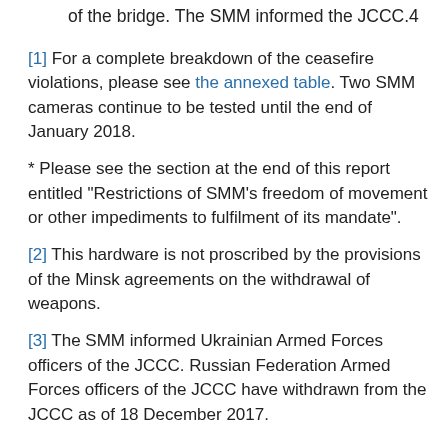of the bridge. The SMM informed the JCCC.4
[1] For a complete breakdown of the ceasefire violations, please see the annexed table. Two SMM cameras continue to be tested until the end of January 2018.
* Please see the section at the end of this report entitled “Restrictions of SMM’s freedom of movement or other impediments to fulfilment of its mandate”.
[2] This hardware is not proscribed by the provisions of the Minsk agreements on the withdrawal of weapons.
[3] The SMM informed Ukrainian Armed Forces officers of the JCCC. Russian Federation Armed Forces officers of the JCCC have withdrawn from the JCCC as of 18 December 2017.
Contacts
Liudmyla Balamar